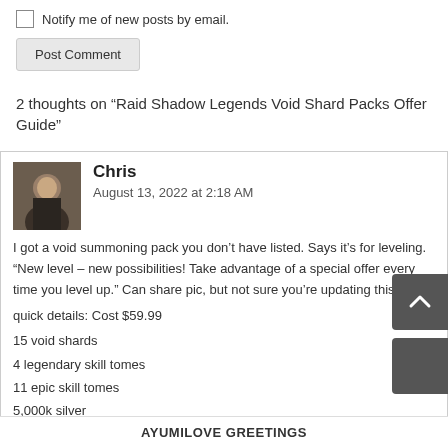Notify me of new posts by email.
Post Comment
2 thoughts on “Raid Shadow Legends Void Shard Packs Offer Guide”
Chris
August 13, 2022 at 2:18 AM
I got a void summoning pack you don’t have listed. Says it’s for leveling. “New level – new possibilities! Take advantage of a special offer every time you level up.” Can share pic, but not sure you’re updating this page.

quick details: Cost $59.99
15 void shards
4 legendary skill tomes
11 epic skill tomes
5,000k silver
Sinathalas
December 11, 2021 at 12:58 AM
the Bonus Offer Pack actual cost is off.
AYUMILOVE GREETINGS